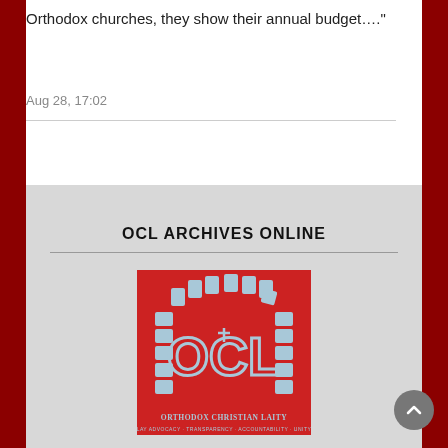Orthodox churches, they show their annual budget...."
Aug 28, 17:02
OCL ARCHIVES ONLINE
[Figure (logo): OCL Orthodox Christian Laity logo on a red background showing an arch with OCL letters and text 'ORTHODOX CHRISTIAN LAITY' and 'LAY ADVOCACY · TRANSPARENCY · ACCOUNTABILITY · UNITY']